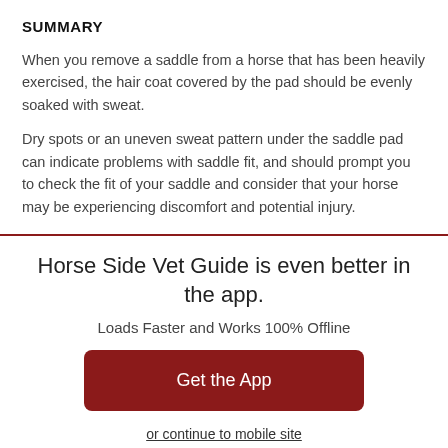SUMMARY
When you remove a saddle from a horse that has been heavily exercised, the hair coat covered by the pad should be evenly soaked with sweat.
Dry spots or an uneven sweat pattern under the saddle pad can indicate problems with saddle fit, and should prompt you to check the fit of your saddle and consider that your horse may be experiencing discomfort and potential injury.
Horse Side Vet Guide is even better in the app.
Loads Faster and Works 100% Offline
Get the App
or continue to mobile site